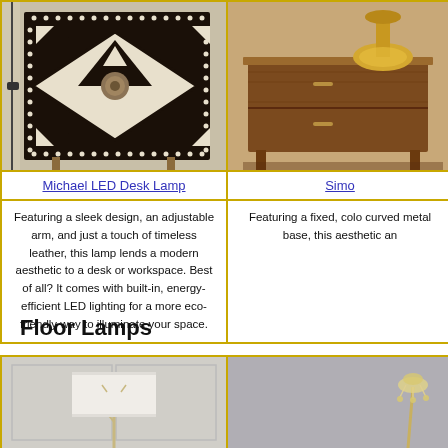[Figure (photo): Black and white bone inlay patterned box/nightstand with geometric and floral motifs, electric cord visible on left side]
[Figure (photo): Wooden mid-century modern nightstand with gold/brass lamp on top, warm brown tones]
Michael LED Desk Lamp
Simo
Featuring a sleek design, an adjustable arm, and just a touch of timeless leather, this lamp lends a modern aesthetic to a desk or workspace. Best of all? It comes with built-in, energy-efficient LED lighting for a more eco-friendly way to illuminate your space.
Featuring a fixed, colo curved metal base, this aesthetic an
Floor Lamps
[Figure (photo): White drum shade floor lamp with branch/coral-like metallic base, against light gray paneled wall]
[Figure (photo): Crystal/metallic accent floor lamp against gray background, partially visible]